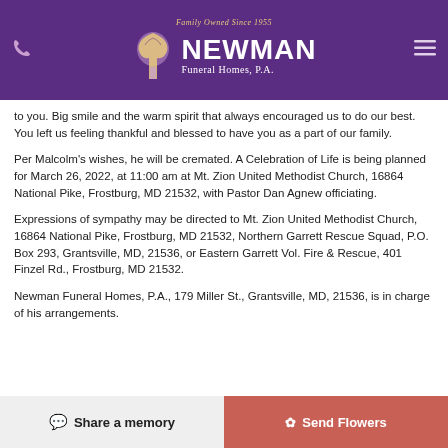Family Owned Since 1955 NEWMAN Funeral Homes, P.A.
to you. Big smile and the warm spirit that always encouraged us to do our best. You left us feeling thankful and blessed to have you as a part of our family.
Per Malcolm's wishes, he will be cremated. A Celebration of Life is being planned for March 26, 2022, at 11:00 am at Mt. Zion United Methodist Church, 16864 National Pike, Frostburg, MD 21532, with Pastor Dan Agnew officiating.
Expressions of sympathy may be directed to Mt. Zion United Methodist Church, 16864 National Pike, Frostburg, MD 21532, Northern Garrett Rescue Squad, P.O. Box 293, Grantsville, MD, 21536, or Eastern Garrett Vol. Fire & Rescue, 401 Finzel Rd., Frostburg, MD 21532.
Newman Funeral Homes, P.A., 179 Miller St., Grantsville, MD, 21536, is in charge of his arrangements.
Share a memory   Send Flowers